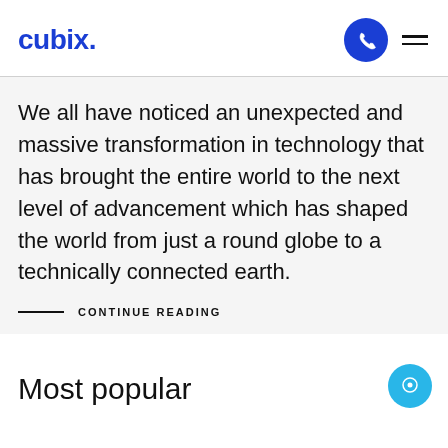cubix.
We all have noticed an unexpected and massive transformation in technology that has brought the entire world to the next level of advancement which has shaped the world from just a round globe to a technically connected earth.
— CONTINUE READING
Most popular